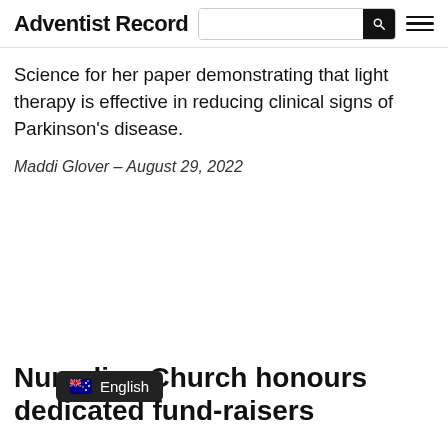Adventist Record
Science for her paper demonstrating that light therapy is effective in reducing clinical signs of Parkinson’s disease.
Maddi Glover – August 29, 2022
Nu... lia... Church honours dedicated fund-rais...